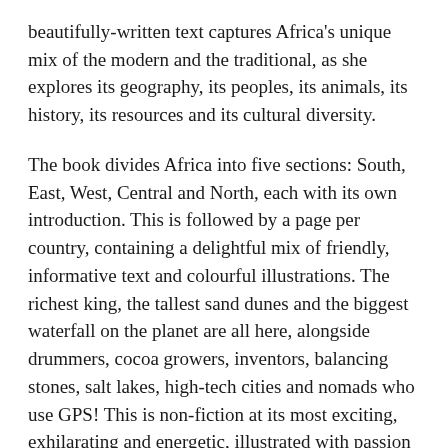beautifully-written text captures Africa's unique mix of the modern and the traditional, as she explores its geography, its peoples, its animals, its history, its resources and its cultural diversity.
The book divides Africa into five sections: South, East, West, Central and North, each with its own introduction. This is followed by a page per country, containing a delightful mix of friendly, informative text and colourful illustrations. The richest king, the tallest sand dunes and the biggest waterfall on the planet are all here, alongside drummers, cocoa growers, inventors, balancing stones, salt lakes, high-tech cities and nomads who use GPS! This is non-fiction at its most exciting, exhilarating and energetic, illustrated with passion and commitment by a great new talent, Mouni Feddag.
Book Features: